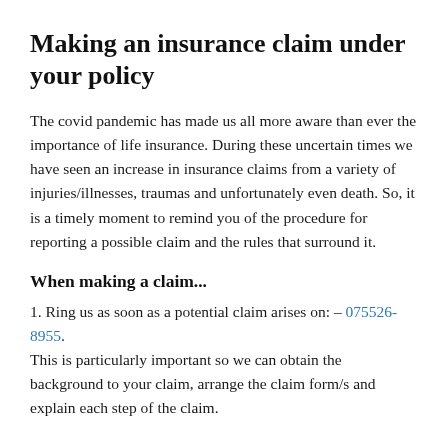Making an insurance claim under your policy
The covid pandemic has made us all more aware than ever the importance of life insurance. During these uncertain times we have seen an increase in insurance claims from a variety of injuries/illnesses, traumas and unfortunately even death. So, it is a timely moment to remind you of the procedure for reporting a possible claim and the rules that surround it.
When making a claim...
1. Ring us as soon as a potential claim arises on: – 075526-8955. This is particularly important so we can obtain the background to your claim, arrange the claim form/s and explain each step of the claim.